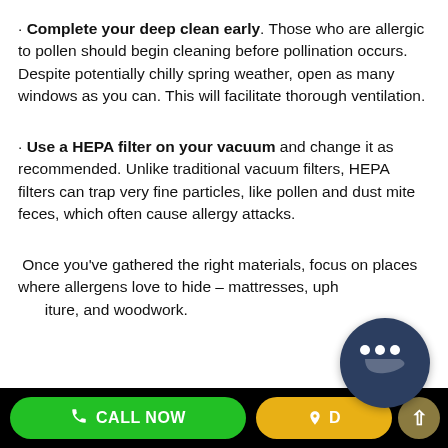· Complete your deep clean early. Those who are allergic to pollen should begin cleaning before pollination occurs. Despite potentially chilly spring weather, open as many windows as you can. This will facilitate thorough ventilation.
· Use a HEPA filter on your vacuum and change it as recommended. Unlike traditional vacuum filters, HEPA filters can trap very fine particles, like pollen and dust mite feces, which often cause allergy attacks.
Once you've gathered the right materials, focus on places where allergens love to hide – mattresses, upholstery, furniture, and woodwork.
CALL NOW | DIRECTIONS